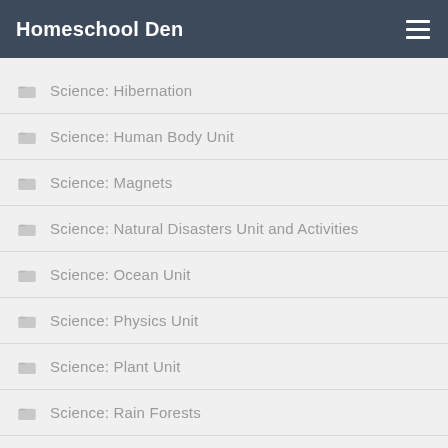Homeschool Den
Science: Hibernation
Science: Human Body Unit
Science: Magnets
Science: Natural Disasters Unit and Activities
Science: Ocean Unit
Science: Physics Unit
Science: Plant Unit
Science: Rain Forests
Science: Rocks and Minerals